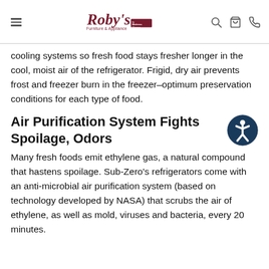Roby's Furniture & Appliance by Mattress Shoppe
cooling systems so fresh food stays fresher longer in the cool, moist air of the refrigerator. Frigid, dry air prevents frost and freezer burn in the freezer–optimum preservation conditions for each type of food.
Air Purification System Fights Spoilage, Odors
Many fresh foods emit ethylene gas, a natural compound that hastens spoilage. Sub-Zero's refrigerators come with an anti-microbial air purification system (based on technology developed by NASA) that scrubs the air of ethylene, as well as mold, viruses and bacteria, every 20 minutes.